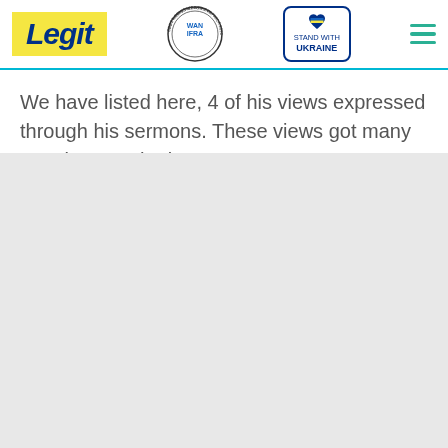Legit | WAN-IFRA 2021 Best News Website in Africa | Stand with Ukraine
We have listed here, 4 of his views expressed through his sermons. These views got many reactions on the internet.
[Figure (other): Gray placeholder/image area filling the lower portion of the page]